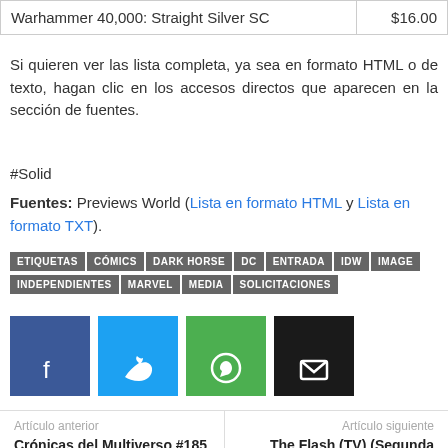|  |  |
| --- | --- |
| Warhammer 40,000: Straight Silver SC | $16.00 |
Si quieren ver las lista completa, ya sea en formato HTML o de texto, hagan clic en los accesos directos que aparecen en la sección de fuentes.
#Solid
Fuentes: Previews World (Lista en formato HTML y Lista en formato TXT).
ETIQUETAS CÓMICS DARK HORSE DC ENTRADA IDW IMAGE INDEPENDIENTES MARVEL MEDIA SOLICITACIONES
[Figure (other): Social sharing buttons: Facebook (blue), Twitter (light blue), WhatsApp (green), Email (black)]
Artículo anterior
Crónicas del Multiverso #185 – I'll form the head
Artículo siguiente
The Flash (TV) (Segunda Temporada)